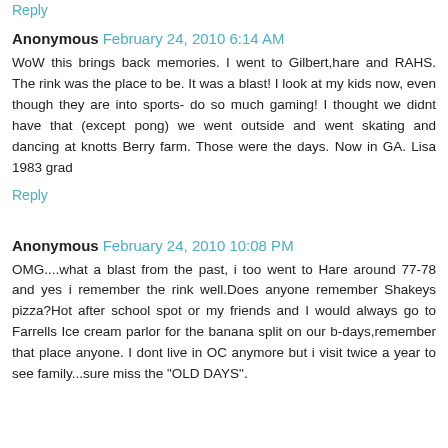Reply
Anonymous  February 24, 2010 6:14 AM
WoW this brings back memories. I went to Gilbert,hare and RAHS. The rink was the place to be. It was a blast! I look at my kids now, even though they are into sports- do so much gaming! I thought we didnt have that (except pong) we went outside and went skating and dancing at knotts Berry farm. Those were the days. Now in GA. Lisa 1983 grad
Reply
Anonymous  February 24, 2010 10:08 PM
OMG....what a blast from the past, i too went to Hare around 77-78 and yes i remember the rink well.Does anyone remember Shakeys pizza?Hot after school spot or my friends and I would always go to Farrells Ice cream parlor for the banana split on our b-days,remember that place anyone. I dont live in OC anymore but i visit twice a year to see family...sure miss the "OLD DAYS".